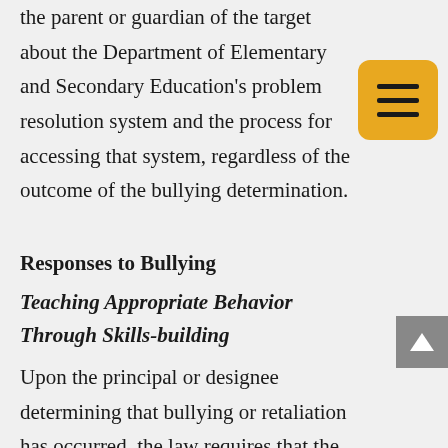the parent or guardian of the target about the Department of Elementary and Secondary Education's problem resolution system and the process for accessing that system, regardless of the outcome of the bullying determination.
Responses to Bullying
Teaching Appropriate Behavior Through Skills-building
Upon the principal or designee determining that bullying or retaliation has occurred, the law requires that the school or district use a range of responses that balance the need for